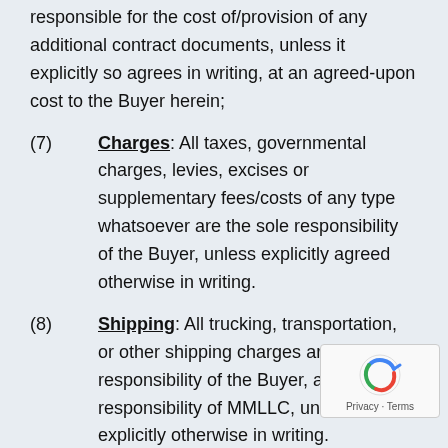responsible for the cost of/provision of any additional contract documents, unless it explicitly so agrees in writing, at an agreed-upon cost to the Buyer herein;
(7) Charges: All taxes, governmental charges, levies, excises or supplementary fees/costs of any type whatsoever are the sole responsibility of the Buyer, unless explicitly agreed otherwise in writing.
(8) Shipping: All trucking, transportation, or other shipping charges are the sole responsibility of the Buyer, and not the responsibility of MMLLC, unless explicitly otherwise in writing.
(9) Invoices: MMLLC will issue an invoice f... parts/products fabricated, upon the completion of